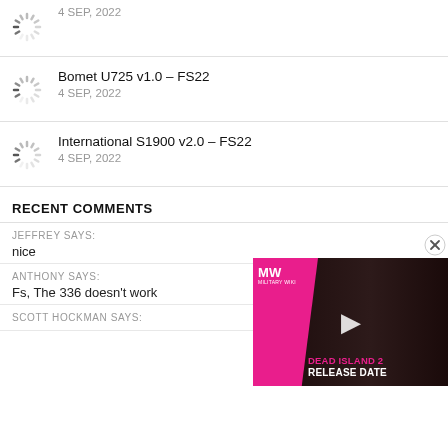4 SEP, 2022
Bomet U725 v1.0 – FS22
4 SEP, 2022
International S1900 v2.0 – FS22
4 SEP, 2022
RECENT COMMENTS
JEFFREY SAYS:
nice
ANTHONY SAYS:
Fs, The 336 doesn't work
SCOTT HOCKMAN SAYS:
[Figure (screenshot): Ad overlay for 'Dead Island 2 Release Date' video with MW logo on pink background and a person wearing sunglasses]